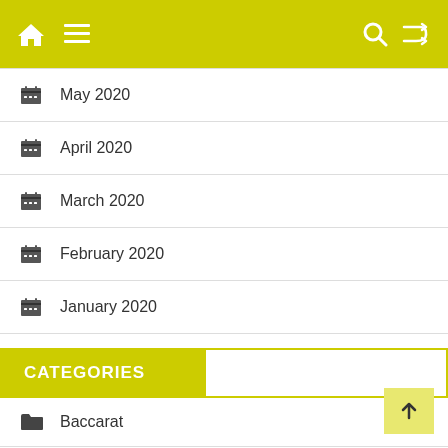Navigation bar with home, menu, search, and shuffle icons
May 2020
April 2020
March 2020
February 2020
January 2020
CATEGORIES
Baccarat
Betting
Bitcoin